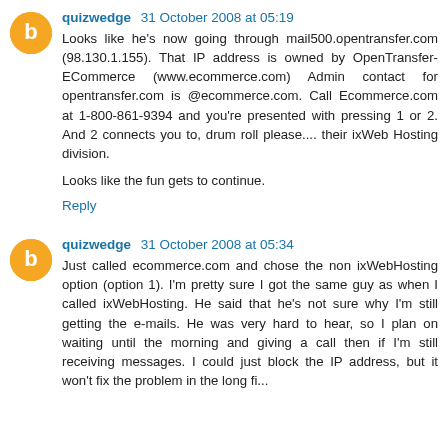quizwedge 31 October 2008 at 05:19
Looks like he's now going through mail500.opentransfer.com (98.130.1.155). That IP address is owned by OpenTransfer-ECommerce (www.ecommerce.com) Admin contact for opentransfer.com is @ecommerce.com. Call Ecommerce.com at 1-800-861-9394 and you're presented with pressing 1 or 2. And 2 connects you to, drum roll please.... their ixWeb Hosting division.
Looks like the fun gets to continue.
Reply
quizwedge 31 October 2008 at 05:34
Just called ecommerce.com and chose the non ixWebHosting option (option 1). I'm pretty sure I got the same guy as when I called ixWebHosting. He said that he's not sure why I'm still getting the e-mails. He was very hard to hear, so I plan on waiting until the morning and giving a call then if I'm still receiving messages. I could just block the IP address, but it won't fix the problem in the long fi...